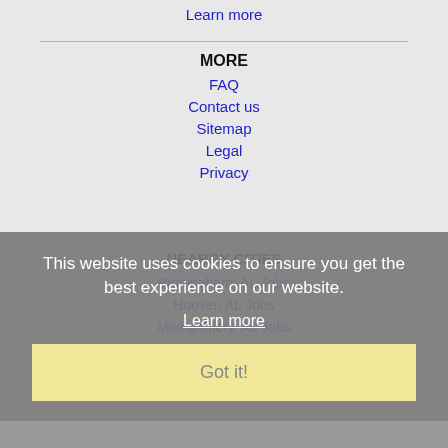Learn more
MORE
FAQ
Contact us
Sitemap
Legal
Privacy
NEARBY CITIES
This website uses cookies to ensure you get the best experience on our website.
Learn more
Birmingham, AL Jobs
Hoover, AL Jobs
Montgomery, AL Jobs
Got it!
Home  Profile and Resume  Browse Jobs  Employers
Other Cities  City Jobs Lists  About Us  Contact Us  Help